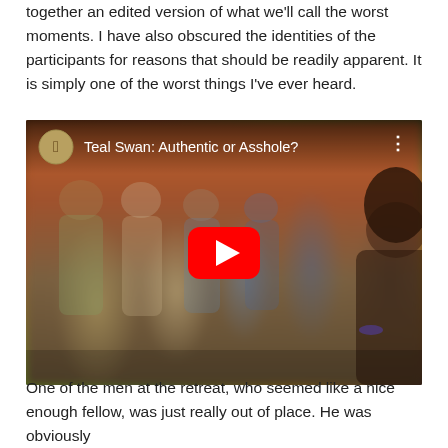together an edited version of what we'll call the worst moments. I have also obscured the identities of the participants for reasons that should be readily apparent. It is simply one of the worst things I've ever heard.
[Figure (screenshot): YouTube video embed showing title 'Teal Swan: Authentic or Asshole?' with a blurred group of people in the background and a woman with dark hair on the right side. A red YouTube play button is centered on the video.]
One of the men at the retreat, who seemed like a nice enough fellow, was just really out of place. He was obviously